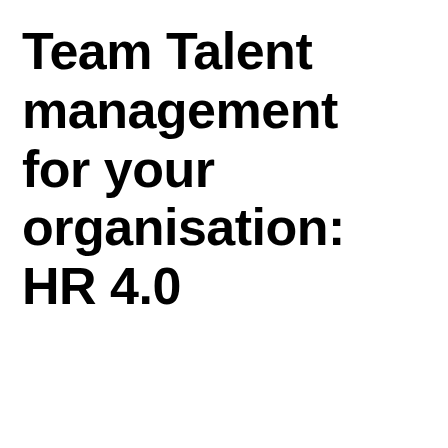Team Talent management for your organisation: HR 4.0